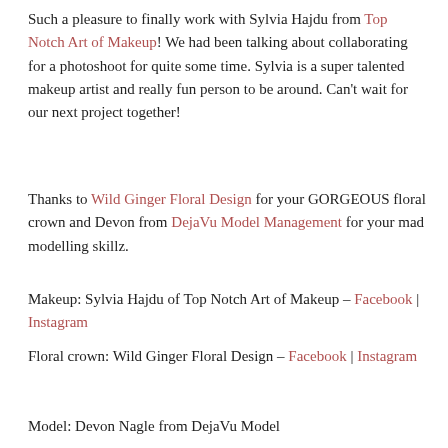Such a pleasure to finally work with Sylvia Hajdu from Top Notch Art of Makeup! We had been talking about collaborating for a photoshoot for quite some time. Sylvia is a super talented makeup artist and really fun person to be around. Can't wait for our next project together!
Thanks to Wild Ginger Floral Design for your GORGEOUS floral crown and Devon from DejaVu Model Management for your mad modelling skillz.
Makeup: Sylvia Hajdu of Top Notch Art of Makeup – Facebook | Instagram
Floral crown: Wild Ginger Floral Design – Facebook | Instagram
Model: Devon Nagle from DejaVu Model